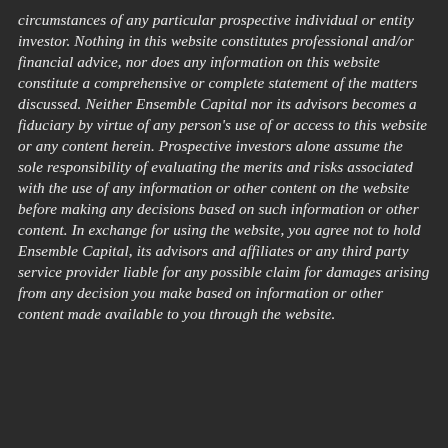circumstances of any particular prospective individual or entity investor. Nothing in this website constitutes professional and/or financial advice, nor does any information on this website constitute a comprehensive or complete statement of the matters discussed. Neither Ensemble Capital nor its advisors becomes a fiduciary by virtue of any person's use of or access to this website or any content herein. Prospective investors alone assume the sole responsibility of evaluating the merits and risks associated with the use of any information or other content on the website before making any decisions based on such information or other content. In exchange for using the website, you agree not to hold Ensemble Capital, its advisors and affiliates or any third party service provider liable for any possible claim for damages arising from any decision you make based on information or other content made available to you through the website.